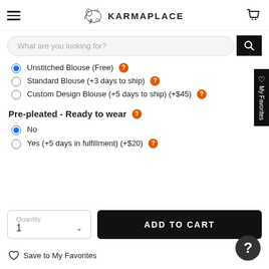KARMAPLACE
What are you looking for?
Unstitched Blouse (Free)
Standard Blouse (+3 days to ship)
Custom Design Blouse (+5 days to ship) (+$45)
Pre-pleated - Ready to wear
No
Yes (+5 days in fulfillment) (+$20)
Quantity 1
ADD TO CART
Save to My Favorites